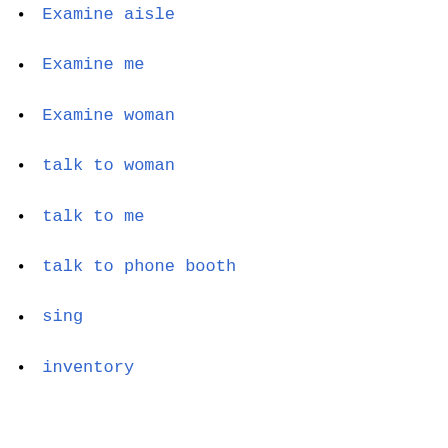Examine aisle
Examine me
Examine woman
talk to woman
talk to me
talk to phone booth
sing
inventory